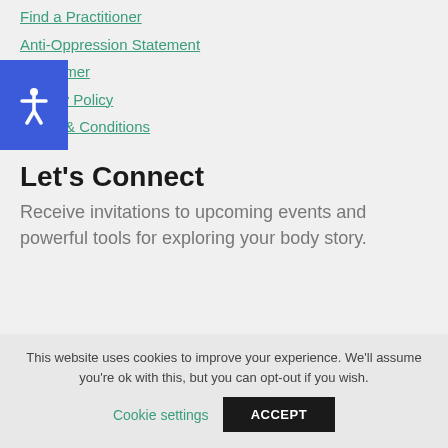Find a Practitioner
Anti-Oppression Statement
Disclaimer
Privacy Policy
Terms & Conditions
Let's Connect
Receive invitations to upcoming events and powerful tools for exploring your body story.
This website uses cookies to improve your experience. We'll assume you're ok with this, but you can opt-out if you wish.
Cookie settings
ACCEPT